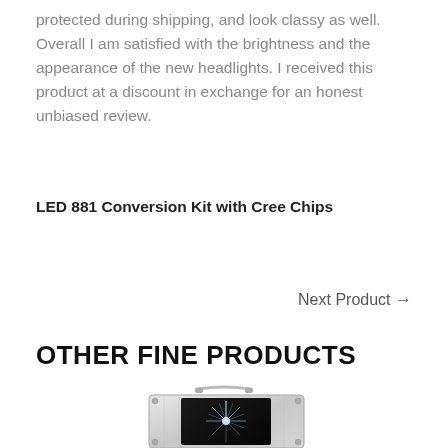protected during shipping, and look classy as well. Overall I am satisfied with the brightness and the appearance of the new headlights. I received this product at a discount in exchange for an honest unbiased review.
LED 881 Conversion Kit with Cree Chips
Next Product →
OTHER FINE PRODUCTS
[Figure (photo): A silver metallic carrying case with a black interior panel showing a bright starburst light effect. The case has a handle on top and decorative rivets.]